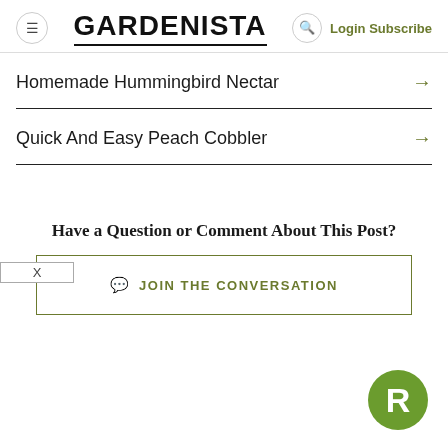GARDENISTA — Login Subscribe
Homemade Hummingbird Nectar →
Quick And Easy Peach Cobbler →
Have a Question or Comment About This Post?
JOIN THE CONVERSATION